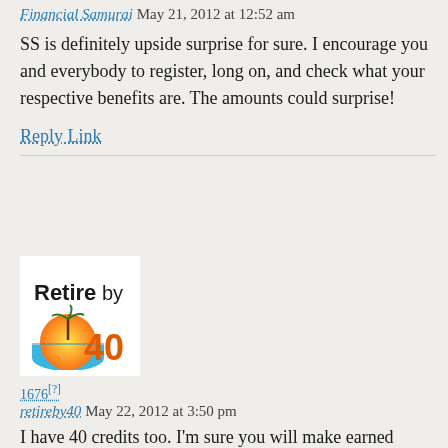Financial Samurai May 21, 2012 at 12:52 am
SS is definitely upside surprise for sure. I encourage you and everybody to register, long on, and check what your respective benefits are. The amounts could surprise!
Reply Link
[Figure (logo): Retire by 40 logo with bold text 'Retire by 40' and a sunset/beach graphic with an orange sun and blue water bowl]
1676[?]
retireby40 May 22, 2012 at 3:50 pm
I have 40 credits too. I'm sure you will make earned income even after you retire. The websites will generate earned income and that should keep your credit rolling. Even if you take a few years off, you can resume earning a small amount of money to contribute to the credit. I'm sure I'll earn some